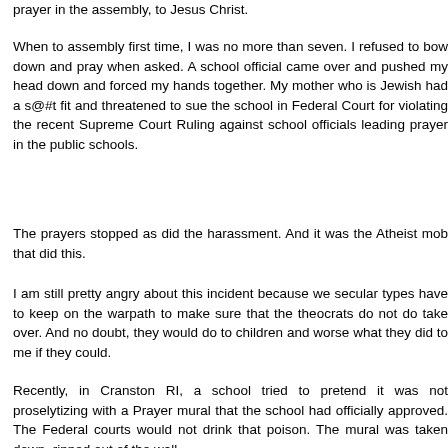prayer in the assembly, to Jesus Christ.
When to assembly first time, I was no more than seven. I refused to bow down and pray when asked. A school official came over and pushed my head down and forced my hands together. My mother who is Jewish had a s@#t fit and threatened to sue the school in Federal Court for violating the recent Supreme Court Ruling against school officials leading prayer in the public schools.
The prayers stopped as did the harassment. And it was the Atheist mob that did this.
I am still pretty angry about this incident because we secular types have to keep on the warpath to make sure that the theocrats do not do take over. And no doubt, they would do to children and worse what they did to me if they could.
Recently, in Cranston RI, a school tried to pretend it was not proselytizing with a Prayer mural that the school had officially approved. The Federal courts would not drink that poison. The mural was taken down, ripped out of the wall